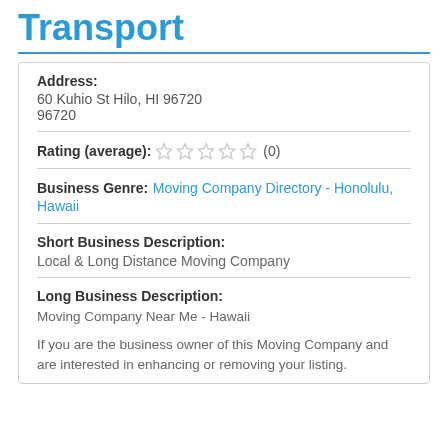Transport
Address:
60 Kuhio St Hilo, HI 96720
96720
Rating (average): ☆☆☆☆☆ (0)
Business Genre: Moving Company Directory - Honolulu, Hawaii
Short Business Description:
Local & Long Distance Moving Company
Long Business Description:
Moving Company Near Me - Hawaii

If you are the business owner of this Moving Company and are interested in enhancing or removing your listing.